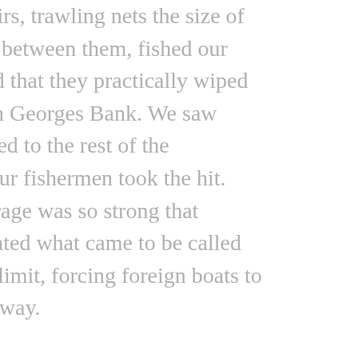pairs, trawling nets the size of ds between them, fished our ard that they practically wiped on Georges Bank. We saw ened to the rest of the ; our fishermen took the hit. utrage was so strong that reated what came to be called le limit, forcing foreign boats to r away. e to two decades for herring to in real numbers, but when they long so too did the big trawl time American owned. Try as ere on the Cape, we could not